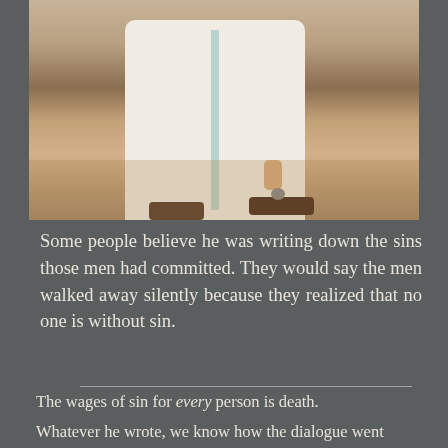[Figure (photo): Photo of a person in white robes and sandals crouching down, appearing to write on the ground, with a dusty dirt path visible.]
Some people believe he was writing down the sins those men had committed. They would say the men walked away silently because they realized that no one is without sin.
The wages of sin for every person is death.
Whatever he wrote, we know how the dialogue went